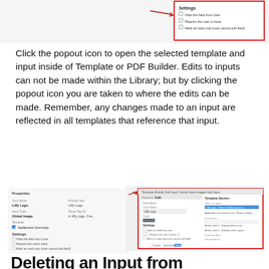[Figure (screenshot): Top portion of a UI settings panel showing checkboxes: Hide this field from User, Require the user to have, Mark as read only (user cannot edit field), with a red border outline]
Click the popout icon to open the selected template and input inside of Template or PDF Builder. Edits to inputs can not be made within the Library; but by clicking the popout icon you are taken to where the edits can be made. Remember, any changes made to an input are reflected in all templates that reference that input.
[Figure (screenshot): Left side: Properties panel showing fields like Your Name (Liffy Logo), Input Type (Global Image), Template (Settlement Summary), Settings with checkboxes. Right side: Template Builder popup with red border showing input editor with fields populated.]
Deleting an Input from